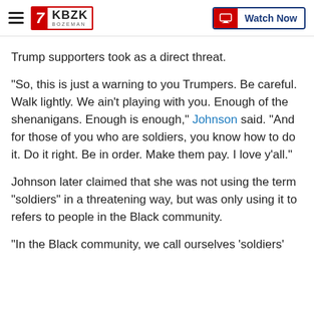KBZK BOZEMAN | Watch Now
Trump supporters took as a direct threat.
"So, this is just a warning to you Trumpers. Be careful. Walk lightly. We ain’t playing with you. Enough of the shenanigans. Enough is enough," Johnson said. "And for those of you who are soldiers, you know how to do it. Do it right. Be in order. Make them pay. I love y’all."
Johnson later claimed that she was not using the term "soldiers" in a threatening way, but was only using it to refers to people in the Black community.
"In the Black community, we call ourselves ‘soldiers’